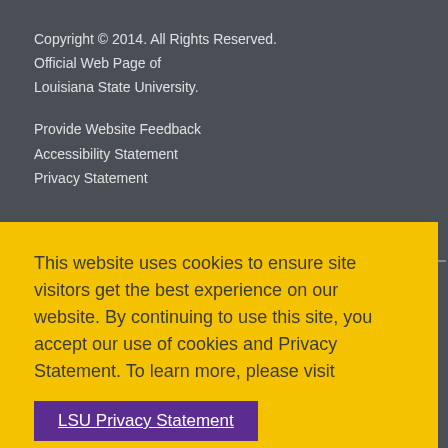Copyright © 2014. All Rights Reserved.
Official Web Page of
Louisiana State University.
Provide Website Feedback
Accessibility Statement
Privacy Statement
This website uses cookies to ensure site visitors get the best experience on our website. By continuing to use this site, you accept our use of cookies and Privacy Statement. To learn more, please visit LSU Privacy Statement.
I agree